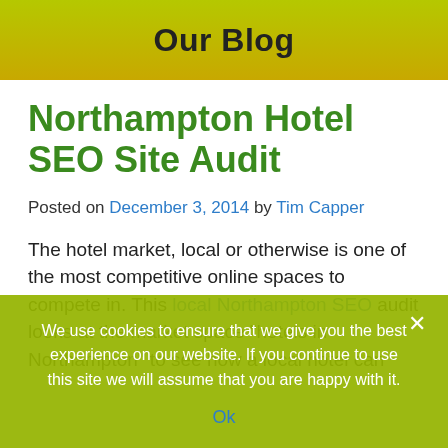Our Blog
Northampton Hotel SEO Site Audit
Posted on December 3, 2014 by Tim Capper
The hotel market, local or otherwise is one of the most competitive online spaces to compete in. This local Northampton SEO audit looks at the market space “hotels in Northampton” to see how a local hotel can
We use cookies to ensure that we give you the best experience on our website. If you continue to use this site we will assume that you are happy with it.
Ok